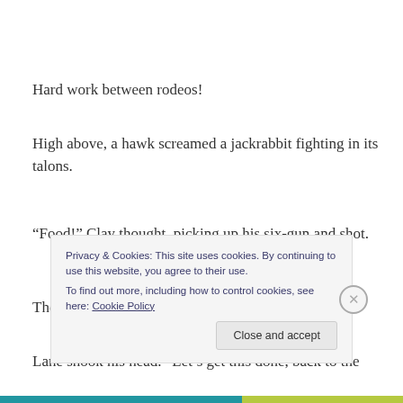Hard work between rodeos!
High above, a hawk screamed a jackrabbit fighting in its talons.
“Food!” Clay thought, picking up his six-gun and shot.
The red tail dropped his prey, flying fast.
Lane shook his head. “Let’s get this done, back to the
Privacy & Cookies: This site uses cookies. By continuing to use this website, you agree to their use.
To find out more, including how to control cookies, see here: Cookie Policy